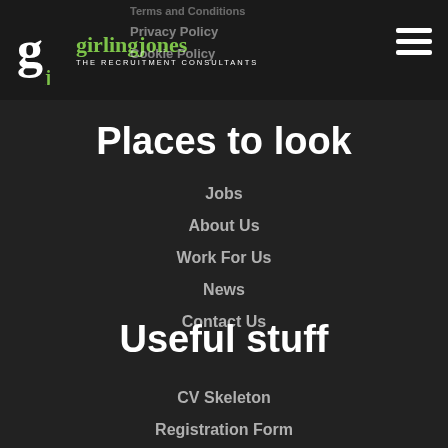girlingjones THE RECRUITMENT CONSULTANTS | Terms and Conditions | Privacy Policy | Cookie Policy
Places to look
Jobs
About Us
Work For Us
News
Contact Us
Useful stuff
CV Skeleton
Registration Form
Online Salary Survey